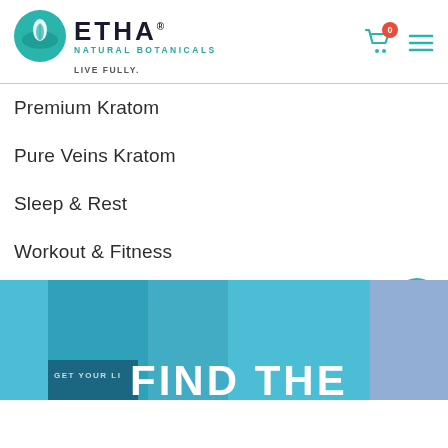[Figure (logo): ETHA Natural Botanicals logo with teal circle icon showing a hand and leaf, text 'ETHA NATURAL BOTANICALS' and tagline 'LIVE FULLY.']
Premium Kratom
Pure Veins Kratom
Sleep & Rest
Workout & Fitness
[Figure (illustration): Teal/blue gradient banner with text 'GET YOUR LI[FE] BA[CK]' and large white bold text 'FIND THE']